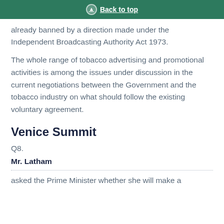Back to top
already banned by a direction made under the Independent Broadcasting Authority Act 1973.
The whole range of tobacco advertising and promotional activities is among the issues under discussion in the current negotiations between the Government and the tobacco industry on what should follow the existing voluntary agreement.
Venice Summit
Q8.
Mr. Latham
asked the Prime Minister whether she will make a